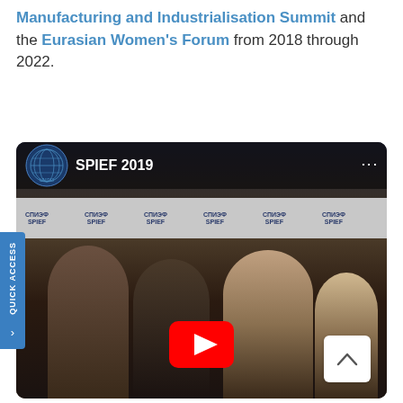Manufacturing and Industrialisation Summit and the Eurasian Women's Forum from 2018 through 2022.
[Figure (screenshot): Embedded YouTube video thumbnail showing a UNIDO-branded video titled 'SPIEF 2019'. Several women are seated at a conference table. A YouTube play button is overlaid at the bottom center. A 'QUICK ACCESS' tab appears on the left edge.]